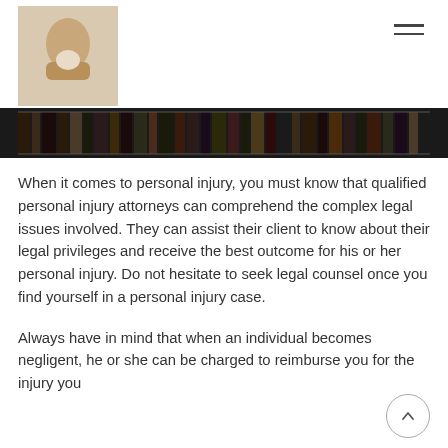[Figure (photo): Logo: a hand holding a round object, top-left corner of the page header]
[Figure (photo): Banner image showing rows of law books on shelves, dark tones]
When it comes to personal injury, you must know that qualified personal injury attorneys can comprehend the complex legal issues involved. They can assist their client to know about their legal privileges and receive the best outcome for his or her personal injury. Do not hesitate to seek legal counsel once you find yourself in a personal injury case.
Always have in mind that when an individual becomes negligent, he or she can be charged to reimburse you for the injury you